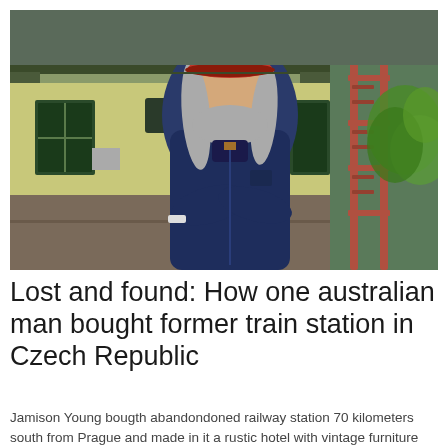[Figure (photo): A person with long grey hair wearing a red conductor's cap and dark navy blue uniform jacket with arms crossed, standing in front of a yellow building that appears to be a train station. There is green foliage and a red metal structure visible in the background.]
Lost and found: How one australian man bought former train station in Czech Republic
Jamison Young bougth abandondoned railway station 70 kilometers south from Prague and made in it a rustic hotel with vintage furniture and a meditative atmosphere.